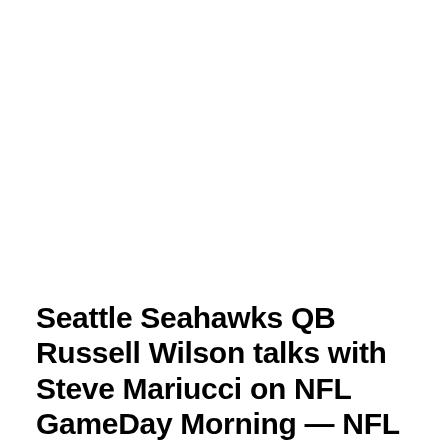Seattle Seahawks QB Russell Wilson talks with Steve Mariucci on NFL GameDay Morning — NFL MEDIA PROGRAMMING NOTES (12/07-12/12)